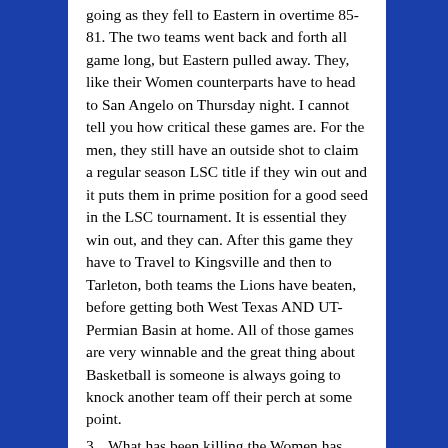going as they fell to Eastern in overtime 85-81. The two teams went back and forth all game long, but Eastern pulled away. They, like their Women counterparts have to head to San Angelo on Thursday night. I cannot tell you how critical these games are. For the men, they still have an outside shot to claim a regular season LSC title if they win out and it puts them in prime position for a good seed in the LSC tournament. It is essential they win out, and they can. After this game they have to Travel to Kingsville and then to Tarleton, both teams the Lions have beaten, before getting both West Texas AND UT-Permian Basin at home. All of those games are very winnable and the great thing about Basketball is someone is always going to knock another team off their perch at some point.
3. What has been killing the Women has been a poor set of shooting displays.